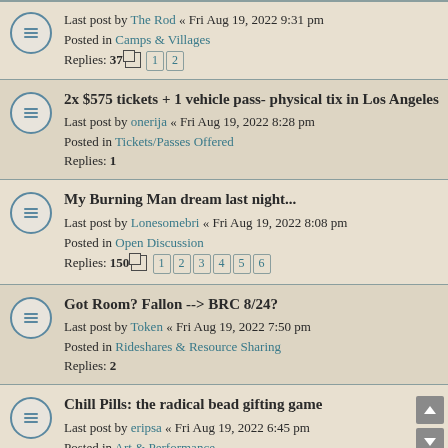Last post by The Rod « Fri Aug 19, 2022 9:31 pm
Posted in Camps & Villages
Replies: 37 [1] [2]
2x $575 tickets + 1 vehicle pass- physical tix in Los Angeles
Last post by onerija « Fri Aug 19, 2022 8:28 pm
Posted in Tickets/Passes Offered
Replies: 1
My Burning Man dream last night...
Last post by Lonesomebri « Fri Aug 19, 2022 8:08 pm
Posted in Open Discussion
Replies: 150 [1][2][3][4][5][6]
Got Room? Fallon --> BRC 8/24?
Last post by Token « Fri Aug 19, 2022 7:50 pm
Posted in Rideshares & Resource Sharing
Replies: 2
Chill Pills: the radical bead gifting game
Last post by eripsa « Fri Aug 19, 2022 6:45 pm
Posted in Art & Performance
Corporation Chaos Summer Internship